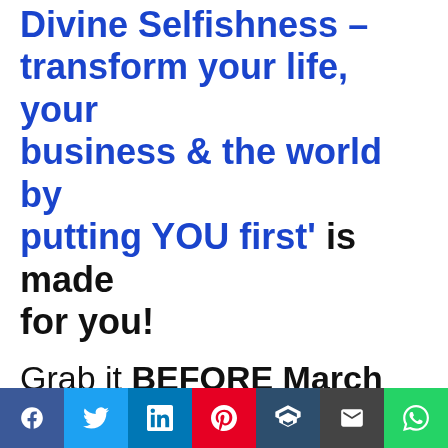Divine Selfishness – transform your life, your business & the world by putting YOU first' is made for you!
Grab it BEFORE March 22, and get a super cool